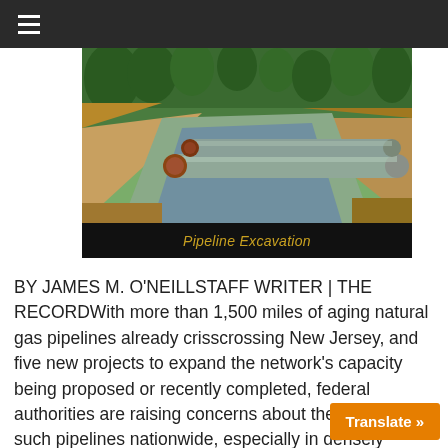Navigation bar with hamburger menu
[Figure (photo): Pipeline excavation photo showing large green/grey pipes laid in a dirt trench with trees and forest in the background]
Pipeline Excavation
BY JAMES M. O'NEILLSTAFF WRITER | THE RECORDWith more than 1,500 miles of aging natural gas pipelines already crisscrossing New Jersey, and five new projects to expand the network's capacity being proposed or recently completed, federal authorities are raising concerns about the safety of such pipelines nationwide, especially in densely populated areas. Continue reading →